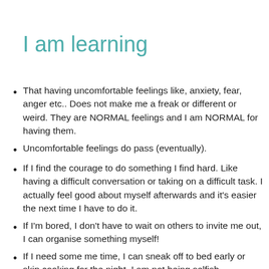I am learning
That having uncomfortable feelings like, anxiety, fear, anger etc.. Does not make me a freak or different or weird. They are NORMAL feelings and I am NORMAL for having them.
Uncomfortable feelings do pass (eventually).
If I find the courage to do something I find hard. Like having a difficult conversation or taking on a difficult task. I actually feel good about myself afterwards and it's easier the next time I have to do it.
If I'm bored, I don't have to wait on others to invite me out, I can organise something myself!
If I need some me time, I can sneak off to bed early or skip cooking for the night. I am not being selfish.